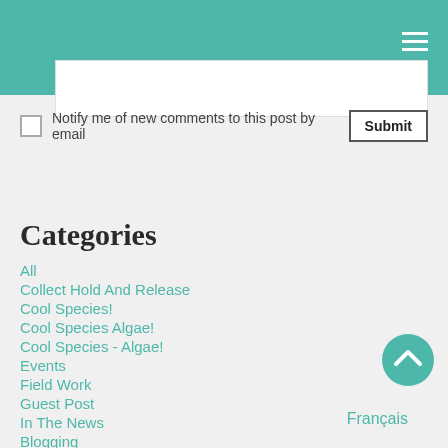Notify me of new comments to this post by email
Categories
All
Collect Hold And Release
Cool Species!
Cool Species Algae!
Cool Species - Algae!
Events
Field Work
Guest Post
In The News
Blogging
Français